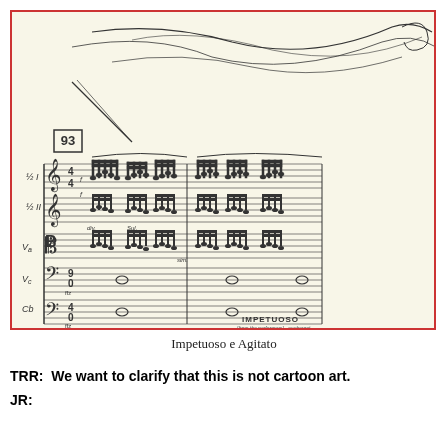[Figure (illustration): A page of orchestral sheet music showing measure 93 with instrument parts labeled I, II, Va, Vc, Cb. The score is surrounded by a red border on a cream/beige background. Abstract line drawing appears at top. Text 'IMPETUOSO' visible at bottom right of score image. Score shows multiple staves with complex notation including dynamics ffz markings.]
Impetuoso e Agitato
TRR:  We want to clarify that this is not cartoon art.
JR: